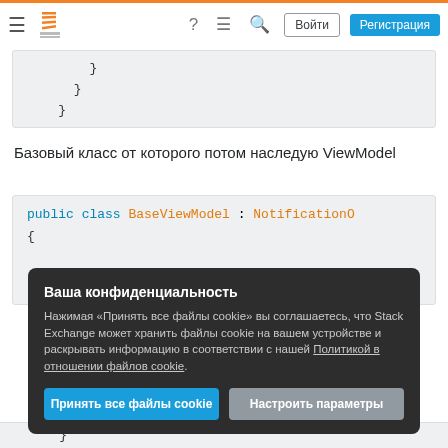Stack Overflow navigation bar with logo, help, chat, search, Войти, Регистрация
[Figure (screenshot): Code block showing closing braces: }, }, }]
Базовый класс от которого потом наследую ViewModel
[Figure (screenshot): Code block: public class BaseViewModel : NotificationO { }]
[Figure (screenshot): Cookie consent dialog: Ваша конфиденциальность. Нажимая «Принять все файлы cookie» вы соглашаетесь, что Stack Exchange может хранить файлы cookie на вашем устройстве и раскрывать информацию в соответствии с нашей Политикой в отношении файлов cookie. Buttons: Принять все файлы cookie, Настроить параметры]
[Figure (screenshot): Bottom code snippet showing closing brace: }]